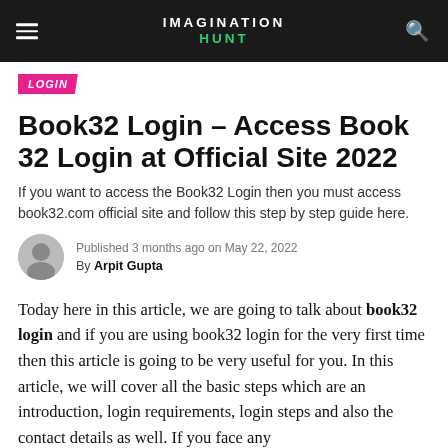IMAGINATION HUNT
LOGIN
Book32 Login – Access Book 32 Login at Official Site 2022
If you want to access the Book32 Login then you must access book32.com official site and follow this step by step guide here.
Published 3 months ago on May 22, 2022 By Arpit Gupta
Today here in this article, we are going to talk about book32 login and if you are using book32 login for the very first time then this article is going to be very useful for you. In this article, we will cover all the basic steps which are an introduction, login requirements, login steps and also the contact details as well. If you face any